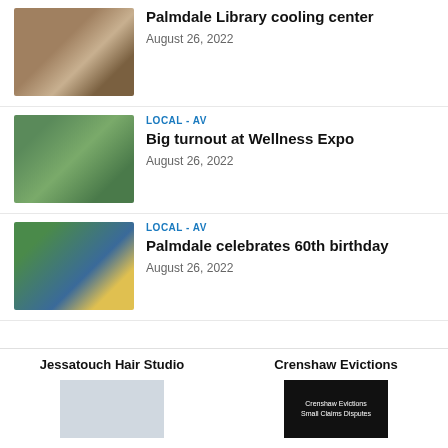[Figure (photo): Photo of Palmdale City Library building exterior]
Palmdale Library cooling center
August 26, 2022
LOCAL - AV
[Figure (photo): Photo of crowd at Wellness Expo outdoor event]
Big turnout at Wellness Expo
August 26, 2022
LOCAL - AV
[Figure (photo): Photo of Joshua tree with blue sky and flowers]
Palmdale celebrates 60th birthday
August 26, 2022
Jessatouch Hair Studio
Crenshaw Evictions
[Figure (photo): Small advertisement thumbnail for Jessatouch Hair Studio]
[Figure (photo): Small advertisement thumbnail for Crenshaw Evictions Small Claims Disputes]